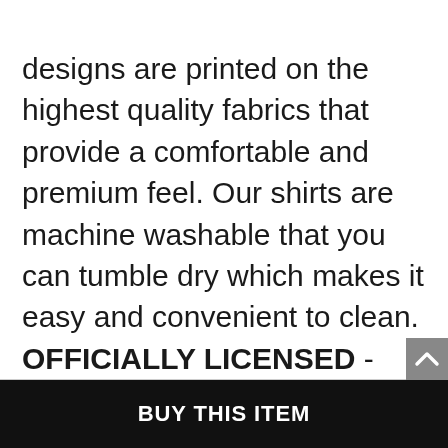designs are printed on the highest quality fabrics that provide a comfortable and premium feel. Our shirts are machine washable that you can tumble dry which makes it easy and convenient to clean. OFFICIALLY LICENSED - Each of our designs are guaranteed authentic and 100% officially licensed. The designs are created by our incredibly talented in-house graphic art team who often hand draw and illustrate each t shirt design. Proudly
BUY THIS ITEM